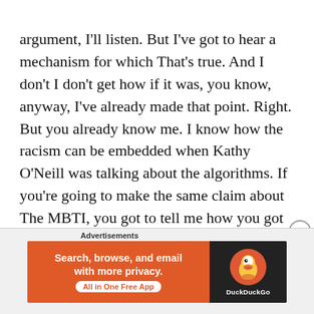argument, I'll listen. But I've got to hear a mechanism for which That's true. And I don't I don't get how if it was, you know, anyway, I've already made that point. Right. But you already know me. I know how the racism can be embedded when Kathy O'Neill was talking about the algorithms. If you're going to make the same claim about The MBTI, you got to tell me how you got to kind of walk me through, you know, the data scientist, I mean, wants to hear how this is happening. Right? You can't just share a letter from the 20s. and convince me that 100 years later, that it's embedded in
Advertisements
[Figure (other): DuckDuckGo advertisement banner: 'Search, browse, and email with more privacy. All in One Free App' with DuckDuckGo logo on dark background.]